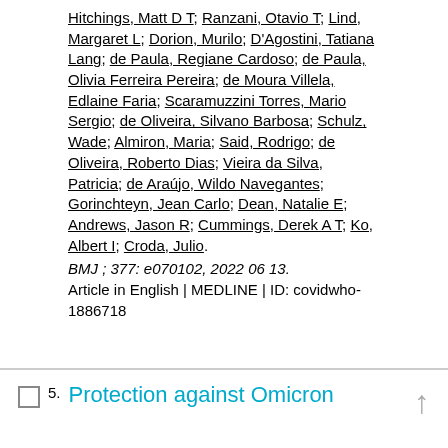Hitchings, Matt D T; Ranzani, Otavio T; Lind, Margaret L; Dorion, Murilo; D'Agostini, Tatiana Lang; de Paula, Regiane Cardoso; de Paula, Olivia Ferreira Pereira; de Moura Villela, Edlaine Faria; Scaramuzzini Torres, Mario Sergio; de Oliveira, Silvano Barbosa; Schulz, Wade; Almiron, Maria; Said, Rodrigo; de Oliveira, Roberto Dias; Vieira da Silva, Patricia; de Araújo, Wildo Navegantes; Gorinchteyn, Jean Carlo; Dean, Natalie E; Andrews, Jason R; Cummings, Derek A T; Ko, Albert I; Croda, Julio.
BMJ ; 377: e070102, 2022 06 13.
Article in English | MEDLINE | ID: covidwho-1886718
5. Protection against Omicron